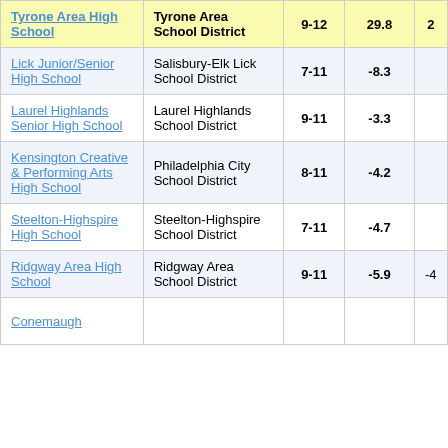| School | District | Grades | Value |  |
| --- | --- | --- | --- | --- |
| Tyrone Area High School | Tyrone Area School District | 9-12 | 29.8 | 2 |
| Lick Junior/Senior High School | Salisbury-Elk Lick School District | 7-11 | -8.3 |  |
| Laurel Highlands Senior High School | Laurel Highlands School District | 9-11 | -3.3 |  |
| Kensington Creative & Performing Arts High School | Philadelphia City School District | 8-11 | -4.2 |  |
| Steelton-Highspire High School | Steelton-Highspire School District | 7-11 | -4.7 |  |
| Ridgway Area High School | Ridgway Area School District | 9-11 | -5.9 | -4 |
| Conemaugh |  |  |  |  |